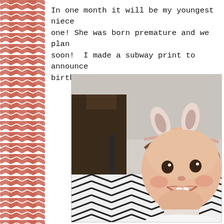[Figure (illustration): Chevron zigzag pattern sidebar on the left in coral/salmon pink color on white background]
In one month it will be my youngest niece one! She was born premature and we plan soon!  I made a subway print to announce birth.  She sure is a cutie!!
[Figure (photo): A smiling baby girl with a bunny ear headband, sitting on a black and white chevron patterned floor with a dark wood chair in the background]